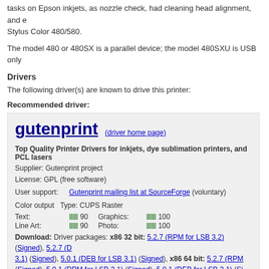tasks on Epson inkjets, as nozzle check, had cleaning head alignment, and e Stylus Color 480/580.
The model 480 or 480SX is a parallel device; the model 480SXU is USB only
Drivers
The following driver(s) are known to drive this printer:
Recommended driver:
[Figure (other): Driver information box for 'gutenprint' driver. Top Quality Printer Drivers for inkjets, dye sublimation printers, and PCL lasers. Supplier: Gutenprint project. License: GPL (free software). User support: Gutenprint mailing list at SourceForge (voluntary). Color output Type: CUPS Raster. Text: 90, Graphics: 100, Line Art: 90, Photo: 100. Download: Driver packages x86 32 bit: 5.2.7 (RPM for LSB 3.2) (Signed), 5.2.7 (D 3.1) (Signed), 5.0.1 (DEB for LSB 3.1) (Signed), x86 64 bit: 5.2.7 (RPM (Signed), 5.0.1 (RPM for LSB 3.1) (Signed), 5.0.1 (DEB for LSB 3.1) (Si]
Other drivers: